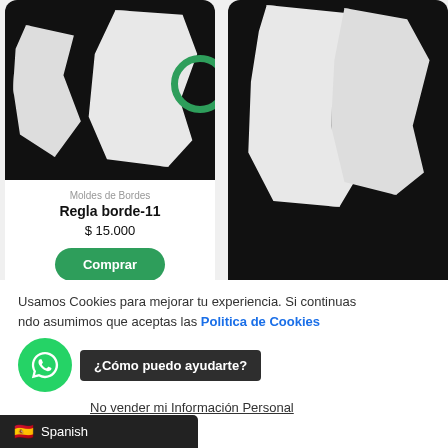[Figure (screenshot): E-commerce product listing screenshot showing two product cards for sewing border molds. Left card: 'Regla borde-11' at $15.000 with Comprar button. Right card: 'Regla borde-12' at $15.000 with Comprar button. Cookie consent banner at bottom with WhatsApp chat widget, language selector showing Spanish.]
Moldes de Bordes
Regla borde-11
$ 15.000
Comprar
Moldes de Bordes
Regla borde-12
$ 15.000
Comprar
Usamos Cookies para mejorar tu experiencia. Si continuas ndo asumimos que aceptas las Politica de Cookies
¿Cómo puedo ayudarte?
No vender mi Información Personal
Spanish